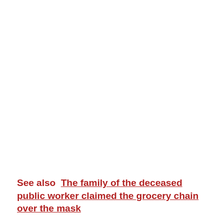See also  The family of the deceased public worker claimed the grocery chain over the mask